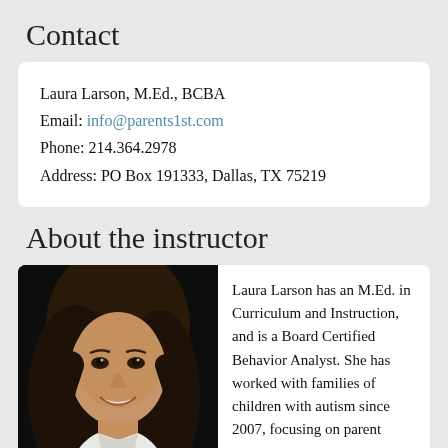Contact
Laura Larson, M.Ed., BCBA
Email: info@parents1st.com
Phone: 214.364.2978
Address: PO Box 191333, Dallas, TX 75219
About the instructor
[Figure (photo): Professional headshot of Laura Larson, a woman with long dark hair, smiling, wearing a white top, against a dark background.]
Laura Larson has an M.Ed. in Curriculum and Instruction, and is a Board Certified Behavior Analyst. She has worked with families of children with autism since 2007, focusing on parent education and providing direct ABA therapy in home, school and clinical